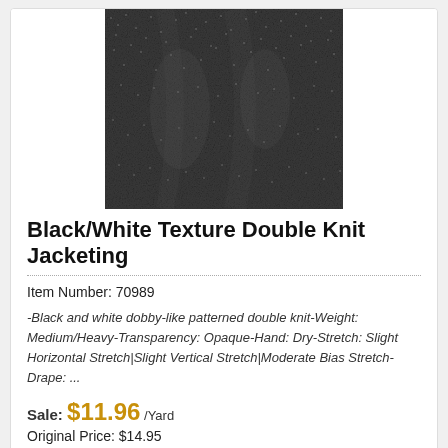[Figure (photo): Close-up photo of black/white texture double knit jacketing fabric, showing a dark grey tweed-like textile with a dobby pattern.]
Black/White Texture Double Knit Jacketing
Item Number: 70989
-Black and white dobby-like patterned double knit-Weight: Medium/Heavy-Transparency: Opaque-Hand: Dry-Stretch: Slight Horizontal Stretch|Slight Vertical Stretch|Moderate Bias Stretch-Drape: ...
Sale: $11.96 /Yard
Original Price: $14.95
You Save: $2.99
On Sale! Save 20%
[Figure (photo): Close-up photo of a dark, almost black, plush or textured fabric, second product listing.]